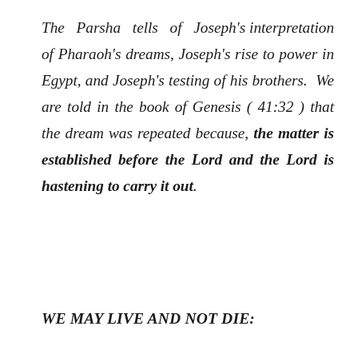The Parsha tells of Joseph's interpretation of Pharaoh's dreams, Joseph's rise to power in Egypt, and Joseph's testing of his brothers. We are told in the book of Genesis ( 41:32 ) that the dream was repeated because, the matter is established before the Lord and the Lord is hastening to carry it out.
WE MAY LIVE AND NOT DIE: